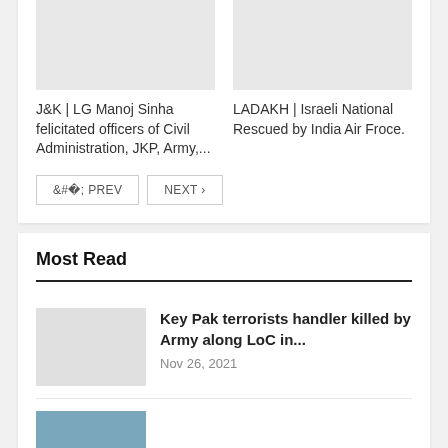J&K | LG Manoj Sinha felicitated officers of Civil Administration, JKP, Army,...
LADAKH | Israeli National Rescued by India Air Froce.
< PREV
NEXT >
Most Read
Key Pak terrorists handler killed by Army along LoC in...
Nov 26, 2021